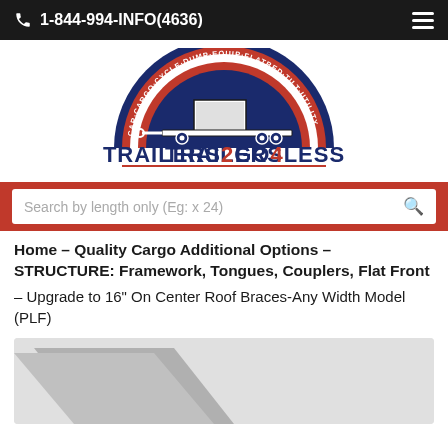1-844-994-INFO(4636)
[Figure (logo): Trailers2Go4Less logo with semicircle showing trailer illustration and text CAR-CARGO-CYCLE-DUMP-EQUIP-FLATBED-TILT-UTILITY around the arch. Below: TRAILERS2GO4LESS in bold navy/red lettering.]
Search by length only (Eg: x 24)
Home – Quality Cargo Additional Options – STRUCTURE: Framework, Tongues, Couplers, Flat Front
– Upgrade to 16" On Center Roof Braces-Any Width Model (PLF)
[Figure (photo): Partial product image with gray background, showing a diagonal gray shape.]